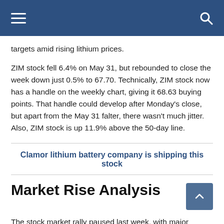Navigation bar with hamburger menu and search icon
targets amid rising lithium prices.
ZIM stock fell 6.4% on May 31, but rebounded to close the week down just 0.5% to 67.70. Technically, ZIM stock now has a handle on the weekly chart, giving it 68.63 buying points. That handle could develop after Monday's close, but apart from the May 31 falter, there wasn't much jitter. Also, ZIM stock is up 11.9% above the 50-day line.
Clamor lithium battery company is shipping this stock
Market Rise Analysis
The stock market rally paused last week, with major indexes retreating modestly, mostly due to Friday's losses. The major indices maintained their 21-day moving averages and the